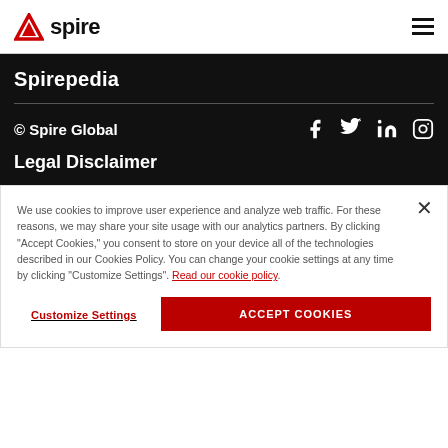Spire (logo) | navigation menu
Spirepedia
© Spire Global
[Figure (illustration): Social media icons: Facebook, Twitter, LinkedIn, Instagram]
Legal Disclaimer
We use cookies to improve user experience and analyze web traffic. For these reasons, we may share your site usage with our analytics partners. By clicking "Accept Cookies," you consent to store on your device all of the technologies described in our Cookies Policy. You can change your cookie settings at any time by clicking "Customize Settings". Read our cookie policy.
Customize Settings | ACCEPT COOKIES